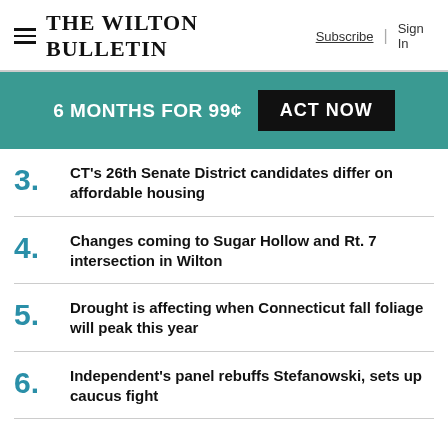The Wilton Bulletin | Subscribe | Sign In
6 MONTHS FOR 99¢  ACT NOW
3. CT's 26th Senate District candidates differ on affordable housing
4. Changes coming to Sugar Hollow and Rt. 7 intersection in Wilton
5. Drought is affecting when Connecticut fall foliage will peak this year
6. Independent's panel rebuffs Stefanowski, sets up caucus fight